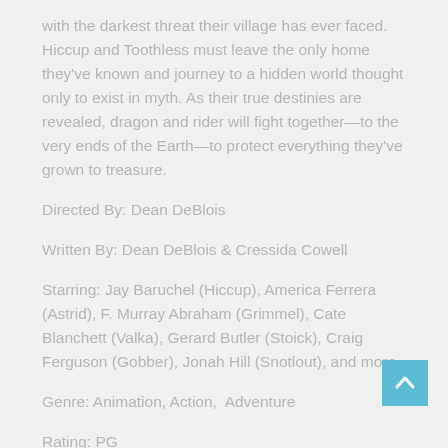with the darkest threat their village has ever faced. Hiccup and Toothless must leave the only home they've known and journey to a hidden world thought only to exist in myth. As their true destinies are revealed, dragon and rider will fight together—to the very ends of the Earth—to protect everything they've grown to treasure.
Directed By: Dean DeBlois
Written By: Dean DeBlois & Cressida Cowell
Starring: Jay Baruchel (Hiccup), America Ferrera (Astrid), F. Murray Abraham (Grimmel), Cate Blanchett (Valka), Gerard Butler (Stoick), Craig Ferguson (Gobber), Jonah Hill (Snotlout), and more.
Genre: Animation, Action,  Adventure
Rating: PG